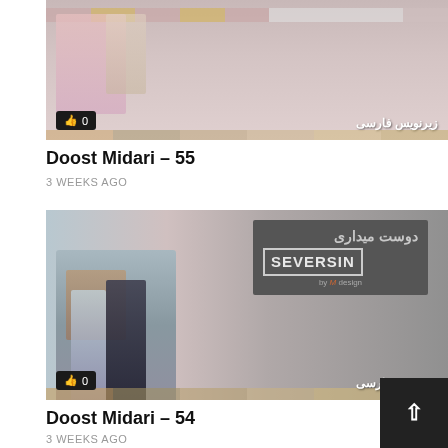[Figure (screenshot): Thumbnail image for Doost Midari episode 55, muted pink/red tones with like badge showing 0 and Persian subtitle text at bottom right]
Doost Midari – 55
3 WEEKS AGO
[Figure (screenshot): Thumbnail image for Doost Midari episode 54, showing couple standing face to face with SEVERSIN logo and Persian text, like badge showing 0 and Persian subtitle text at bottom right]
Doost Midari – 54
3 WEEKS AGO